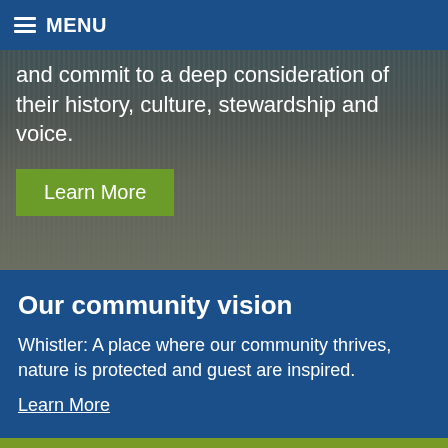MENU
and commit to a deep consideration of their history, culture, stewardship and voice.
Learn More
Our community vision
Whistler: A place where our community thrives, nature is protected and guest are inspired.
Learn More
[Figure (illustration): Three white icons on an olive/green background: a group of people icon, a building/key icon, and a calendar/people icon. A blue scroll-to-top button with an up arrow is visible in the top right of this section.]